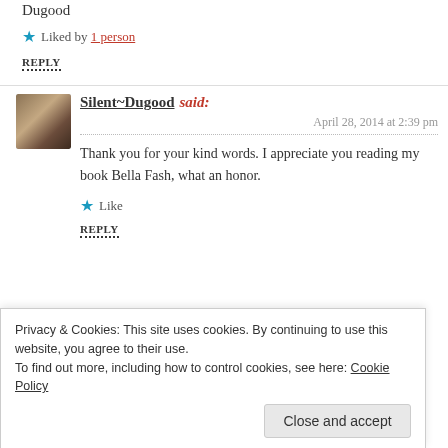Dugood
★ Liked by 1 person
REPLY
Silent~Dugood said:
April 28, 2014 at 2:39 pm
Thank you for your kind words. I appreciate you reading my book Bella Fash, what an honor.
★ Like
REPLY
Privacy & Cookies: This site uses cookies. By continuing to use this website, you agree to their use.
To find out more, including how to control cookies, see here: Cookie Policy
Close and accept